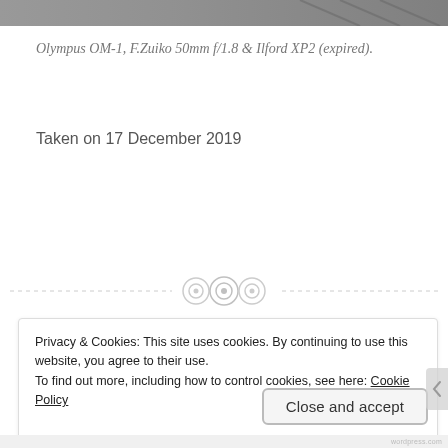[Figure (photo): Partial view of a black and white photograph at the top of the page]
Olympus OM-1, F.Zuiko 50mm f/1.8 & Ilford XP2 (expired).
Taken on 17 December 2019
[Figure (other): Horizontal dashed divider line with three circular button/gear icons centered on it]
Privacy & Cookies: This site uses cookies. By continuing to use this website, you agree to their use.
To find out more, including how to control cookies, see here: Cookie Policy
Close and accept